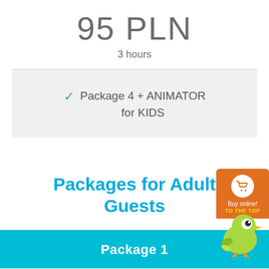95 PLN
3 hours
Package 4 + ANIMATOR for KIDS
Packages for Adult Guests
[Figure (logo): Buy online! TO THE TOP orange badge with cart icon]
[Figure (illustration): Green bird mascot illustration]
Package 1